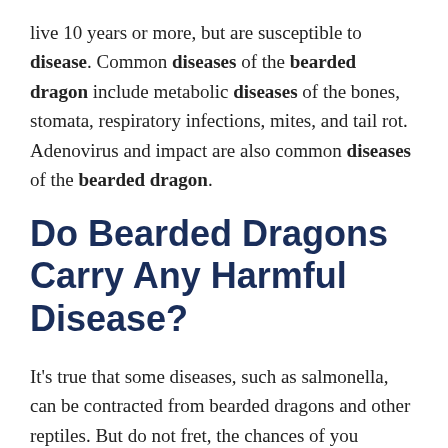live 10 years or more, but are susceptible to disease. Common diseases of the bearded dragon include metabolic diseases of the bones, stomata, respiratory infections, mites, and tail rot. Adenovirus and impact are also common diseases of the bearded dragon.
Do Bearded Dragons Carry Any Harmful Disease?
It's true that some diseases, such as salmonella, can be contracted from bearded dragons and other reptiles. But do not fret, the chances of you becoming ill from a bearded dragon are very slim. The salmonella bacteria is generally spread through the fecal matter of the bearded